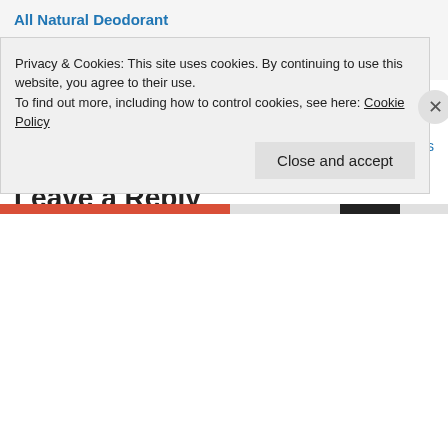All Natural Deodorant
May 20, 2018
In "Beauty"
Posted in Uncategorized   Leave a comment
The Power of She
Setting Goals
Leave a Reply
Privacy & Cookies: This site uses cookies. By continuing to use this website, you agree to their use.
To find out more, including how to control cookies, see here: Cookie Policy